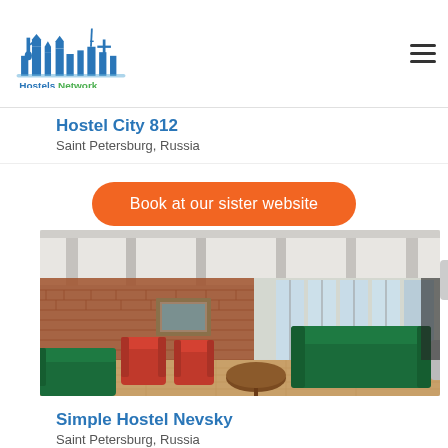Hostels Network
Hostel City 812
Saint Petersburg, Russia
Book at our sister website
[Figure (photo): Interior of Simple Hostel Nevsky showing a common room with red armchairs, green sofas, brick walls, wooden floor, and bright windows]
Simple Hostel Nevsky
Saint Petersburg, Russia